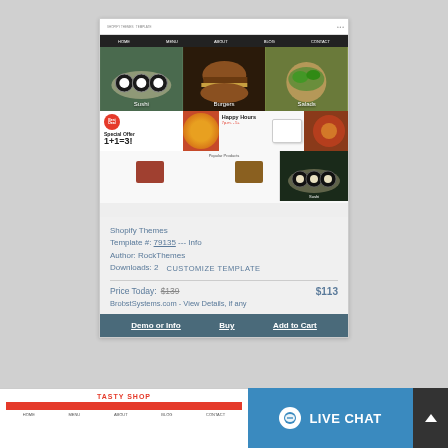[Figure (screenshot): Screenshot of a Shopify food-restaurant theme showing sushi, burgers, salads food images, special offer 1+1=3 promotion, happy hours section, and popular products grid]
Shopify Themes
Template #: 79135 --- Info
Author: RockThemes
Downloads: 2    CUSTOMIZE TEMPLATE
Price Today:  $139  $113
BrobstSystems.com - View Details, if any
Demo or Info    Buy    Add to Cart
[Figure (screenshot): Partial screenshot of Tasty Shop food theme with red header bar and live chat button overlay]